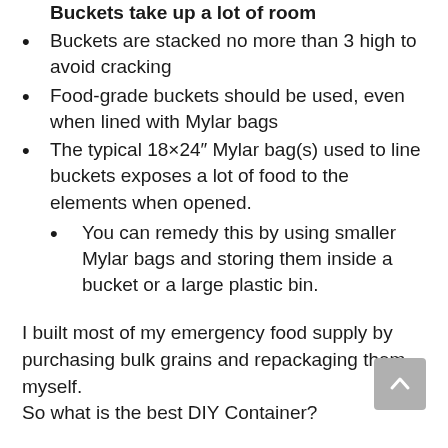Buckets take up a lot of room
Buckets are stacked no more than 3 high to avoid cracking
Food-grade buckets should be used, even when lined with Mylar bags
The typical 18×24″ Mylar bag(s) used to line buckets exposes a lot of food to the elements when opened.
You can remedy this by using smaller Mylar bags and storing them inside a bucket or a large plastic bin.
I built most of my emergency food supply by purchasing bulk grains and repackaging them myself.
So what is the best DIY Container?